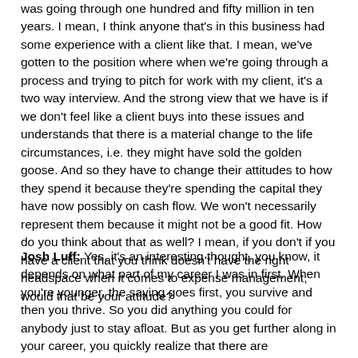was going through one hundred and fifty million in ten years. I mean, I think anyone that's in this business had some experience with a client like that. I mean, we've gotten to the position where when we're going through a process and trying to pitch for work with my client, it's a two way interview. And the strong view that we have is if we don't feel like a client buys into these issues and understands that there is a material change to the life circumstances, i.e. they might have sold the golden goose. And so they have to change their attitudes to how they spend it because they're spending the capital they have now possibly on cash flow. We won't necessarily represent them because it might not be a good fit. How do you think about that as well? I mean, if you don't if you have a client that you think doesn't have the right headspace when it comes to expense management, would that be your attitude?
Josh Luff: Yes, it's an interesting thought, you know, it depends on what part of my career I was in first. When you're younger, the saying goes first, you survive and then you thrive. So you did anything you could for anybody just to stay afloat. But as you get further along in your career, you quickly realize that there are